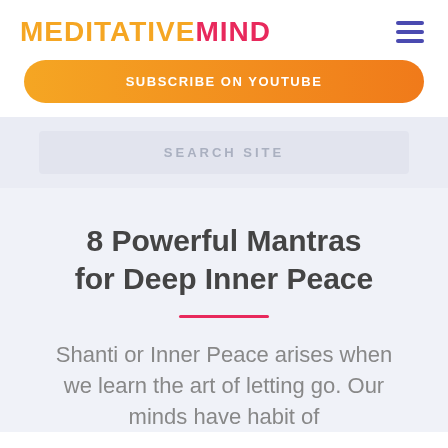MEDITATIVE MIND
[Figure (logo): Hamburger menu icon with three horizontal lines in indigo/purple color]
[Figure (other): Orange gradient Subscribe on YouTube button]
SEARCH SITE
8 Powerful Mantras for Deep Inner Peace
Shanti or Inner Peace arises when we learn the art of letting go. Our minds have habit of